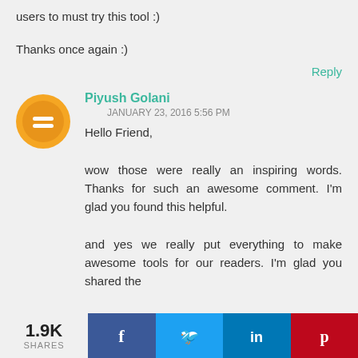users to must try this tool :)
Thanks once again :)
Reply
[Figure (illustration): Orange circular blogger avatar icon with white equal-sign logo]
Piyush Golani
JANUARY 23, 2016 5:56 PM
Hello Friend,

wow those were really an inspiring words. Thanks for such an awesome comment. I'm glad you found this helpful.

and yes we really put everything to make awesome tools for our readers. I'm glad you shared the
1.9K SHARES
[Figure (infographic): Social share bar with Facebook, Twitter, LinkedIn, Pinterest buttons showing 1.9K shares]